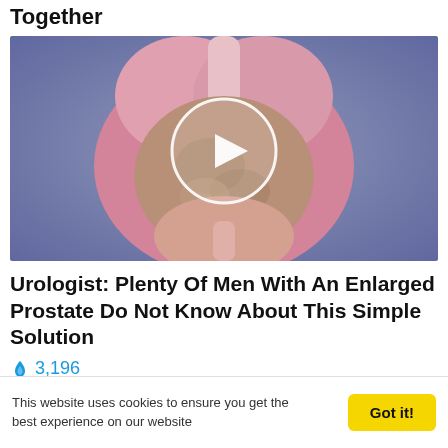Together
[Figure (illustration): Medical 3D illustration of an enlarged prostate gland cross-section with a video play button overlay on a bluish-gray background]
Urologist: Plenty Of Men With An Enlarged Prostate Do Not Know About This Simple Solution
🔥 3,196
[Figure (photo): Partial bottom strip showing a cropped image with outdoor/indoor scenes]
This website uses cookies to ensure you get the best experience on our website
Got it!